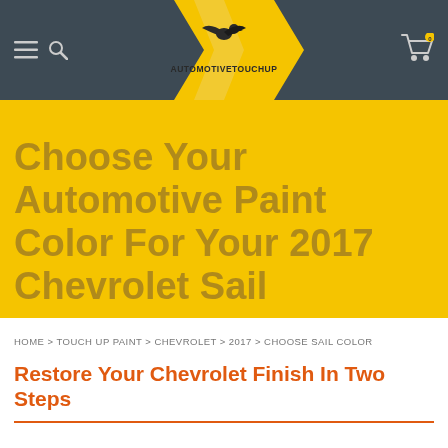[Figure (logo): AutomotiveTouchup logo with winged eagle emblem on yellow chevron background, text reads AUTOMOTIVETOUCHUP]
Choose Your Automotive Paint Color For Your 2017 Chevrolet Sail
HOME > TOUCH UP PAINT > CHEVROLET > 2017 > CHOOSE SAIL COLOR
Restore Your Chevrolet Finish In Two Steps